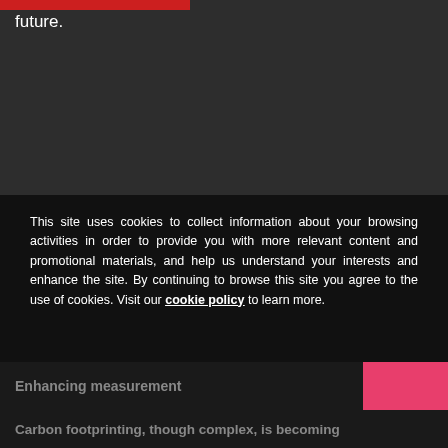future.
This site uses cookies to collect information about your browsing activities in order to provide you with more relevant content and promotional materials, and help us understand your interests and enhance the site. By continuing to browse this site you agree to the use of cookies. Visit our cookie policy to learn more.
Enhancing measurement
Carbon footprinting, though complex, is becoming